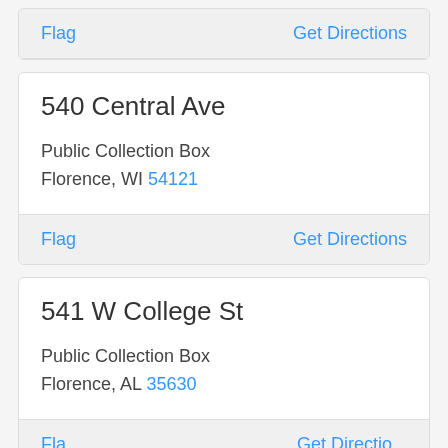Flag | Get Directions
540 Central Ave
Public Collection Box
Florence, WI 54121
Flag | Get Directions
541 W College St
Public Collection Box
Florence, AL 35630
Flag | Get Directions (partial)